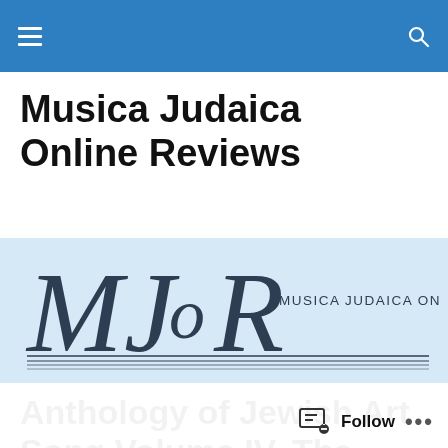Musica Judaica Online Reviews
[Figure (logo): MJOR – Musica Judaica Online Reviews logo on light blue background, showing large stylized letters MJoR with horizontal lines beneath and the full name in small caps]
Anthology of Jewish Art Song Volume IV, The Lazar Weiner Collection, Book 1: Yiddish Art...